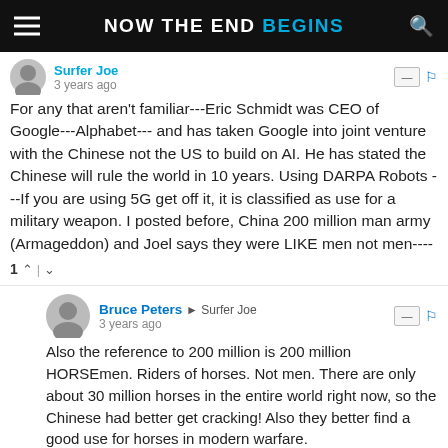NOW THE END BEGINS
Surfer Joe
3 years ago
For any that aren't familiar---Eric Schmidt was CEO of Google---Alphabet--- and has taken Google into joint venture with the Chinese not the US to build on AI. He has stated the Chinese will rule the world in 10 years. Using DARPA Robots ---If you are using 5G get off it, it is classified as use for a military weapon. I posted before, China 200 million man army (Armageddon) and Joel says they were LIKE men not men----
1
Bruce Peters → Surfer Joe
3 years ago
Also the reference to 200 million is 200 million HORSEmen. Riders of horses. Not men. There are only about 30 million horses in the entire world right now, so the Chinese had better get cracking! Also they better find a good use for horses in modern warfare.